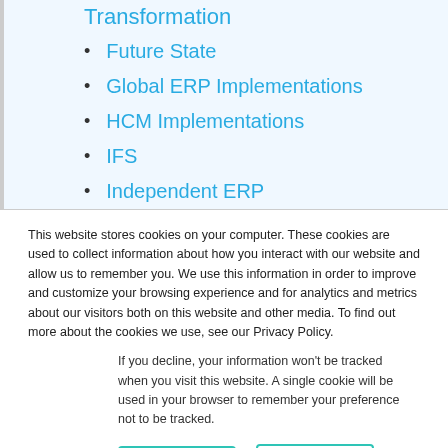Transformation
Future State
Global ERP Implementations
HCM Implementations
IFS
Independent ERP
This website stores cookies on your computer. These cookies are used to collect information about how you interact with our website and allow us to remember you. We use this information in order to improve and customize your browsing experience and for analytics and metrics about our visitors both on this website and other media. To find out more about the cookies we use, see our Privacy Policy.
If you decline, your information won't be tracked when you visit this website. A single cookie will be used in your browser to remember your preference not to be tracked.
Accept
Decline